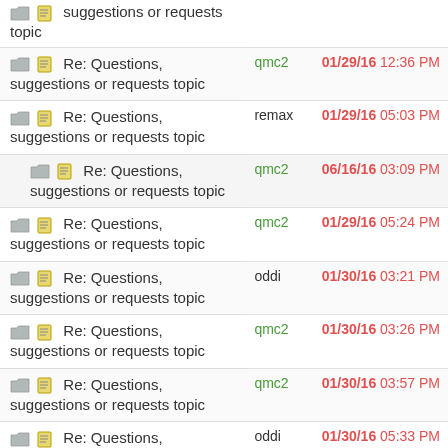| Topic | Author | Date/Time |
| --- | --- | --- |
| Re: Questions, suggestions or requests topic | qmc2 | 01/29/16 12:36 PM |
| Re: Questions, suggestions or requests topic | remax | 01/29/16 05:03 PM |
| Re: Questions, suggestions or requests topic | qmc2 | 06/16/16 03:09 PM |
| Re: Questions, suggestions or requests topic | qmc2 | 01/29/16 05:24 PM |
| Re: Questions, suggestions or requests topic | oddi | 01/30/16 03:21 PM |
| Re: Questions, suggestions or requests topic | qmc2 | 01/30/16 03:26 PM |
| Re: Questions, suggestions or requests topic | qmc2 | 01/30/16 03:57 PM |
| Re: Questions, suggestions or requests topic | oddi | 01/30/16 05:33 PM |
| Re: Questions, suggestions or requests topic | qmc2 | 01/30/16 07:19 PM |
| Re: Questions, ... | Dinodale | 02/11/16 04:46 AM |